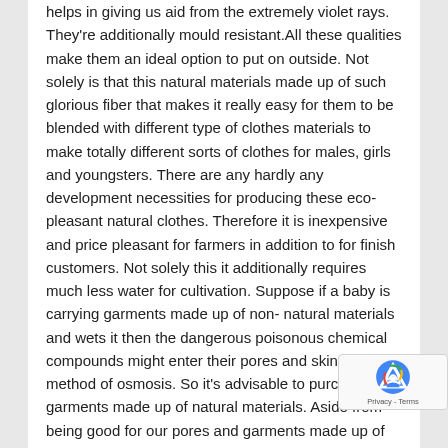helps in giving us aid from the extremely violet rays. They're additionally mould resistant.All these qualities make them an ideal option to put on outside. Not solely is that this natural materials made up of such glorious fiber that makes it really easy for them to be blended with different type of clothes materials to make totally different sorts of clothes for males, girls and youngsters. There are any hardly any development necessities for producing these eco- pleasant natural clothes. Therefore it is inexpensive and price pleasant for farmers in addition to for finish customers. Not solely this it additionally requires much less water for cultivation. Suppose if a baby is carrying garments made up of non- natural materials and wets it then the dangerous poisonous chemical compounds might enter their pores and skin via the method of osmosis. So it's advisable to purchase garments made up of natural materials. Aside from being good for our pores and garments made up of natural materials are very sturdy